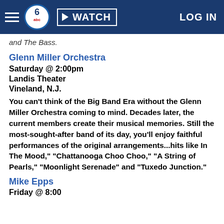WATCH | LOG IN
and The Bass.
Glenn Miller Orchestra
Saturday @ 2:00pm
Landis Theater
Vineland, N.J.
You can't think of the Big Band Era without the Glenn Miller Orchestra coming to mind. Decades later, the current members create their musical memories. Still the most-sought-after band of its day, you'll enjoy faithful performances of the original arrangements...hits like In The Mood," "Chattanooga Choo Choo," "A String of Pearls," "Moonlight Serenade" and "Tuxedo Junction."
Mike Epps
Friday @ 8:00